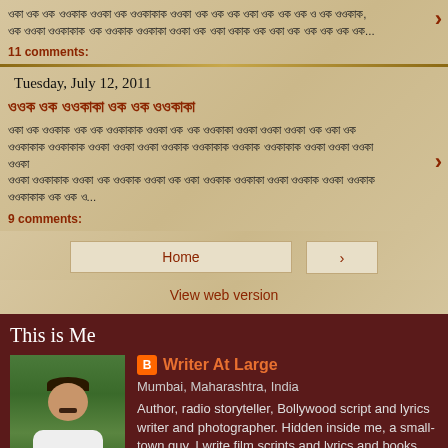Hindi text post excerpt (prior post)
11 comments:
Tuesday, July 12, 2011
Hindi post title (link)
Hindi text post excerpt (second post)
9 comments:
Home | › | View web version
This is Me
Writer At Large
Mumbai, Maharashtra, India
Author, radio storyteller, Bollywood script and lyrics writer and photographer. Hidden inside me, a small-town guy. I write film scripts and lyrics and books and other things, but here is what's most cherished -- I tell stories of